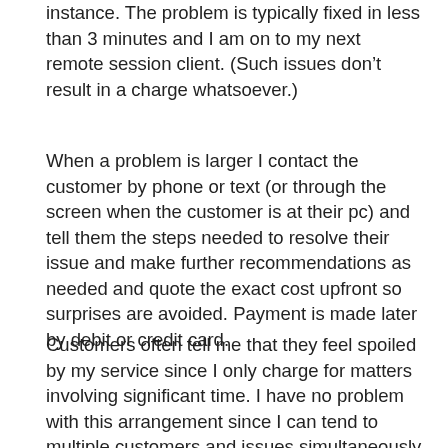instance. The problem is typically fixed in less than 3 minutes and I am on to my next remote session client. (Such issues don't result in a charge whatsoever.)
When a problem is larger I contact the customer by phone or text (or through the screen when the customer is at their pc) and tell them the steps needed to resolve their issue and make further recommendations as needed and quote the exact cost upfront so surprises are avoided. Payment is made later by debit or credit card.
Customers often tell me that they feel spoiled by my service since I only charge for matters involving significant time. I have no problem with this arrangement since I can tend to multiple customers and issues simultaneously while remote servicing a computer. One of the things missing in modern business is the “good will” service of yesteryear when customers were not nickel and dimed at every turn. This resulted in a bond between business and